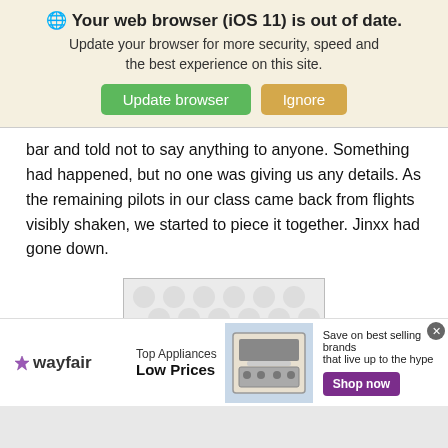🌐 Your web browser (iOS 11) is out of date. Update your browser for more security, speed and the best experience on this site. [Update browser] [Ignore]
bar and told not to say anything to anyone. Something had happened, but no one was giving us any details. As the remaining pilots in our class came back from flights visibly shaken, we started to piece it together. Jinxx had gone down.
[Figure (other): Decorative image placeholder with dot/blob pattern on light gray background]
[Figure (other): Wayfair advertisement banner: Top Appliances Low Prices, image of oven/range, Save on best selling brands that live up to the hype, Shop now button in purple]